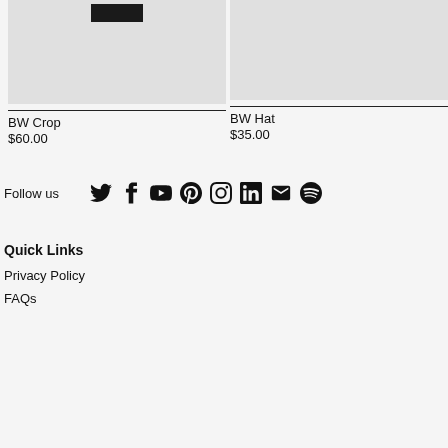[Figure (photo): Product image placeholder for BW Crop - light gray background with black rectangle at top center]
[Figure (photo): Product image placeholder for BW Hat - light gray background, no overlay]
BW Crop
$60.00
BW Hat
$35.00
Follow us
[Figure (infographic): Social media icons row: Twitter, Facebook, YouTube, Pinterest, Instagram, LinkedIn, Email, Spotify]
Quick Links
Privacy Policy
FAQs